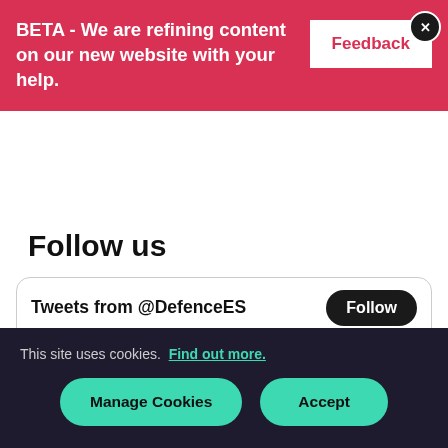BETA - We are refining content on our new website with your help.
Feedback
Follow us
[Figure (screenshot): Twitter widget showing 'Tweets from @DefenceES' with a Follow button, and a tweet from Defence Equi... verified account, dated Aug 31]
This site uses cookies. Find out more.
Manage Cookies
Accept